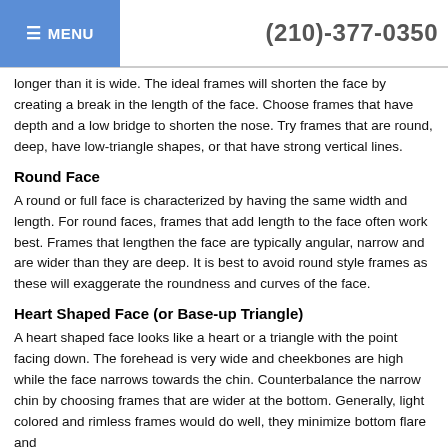≡ MENU   (210)-377-0350
longer than it is wide. The ideal frames will shorten the face by creating a break in the length of the face. Choose frames that have depth and a low bridge to shorten the nose. Try frames that are round, deep, have low-triangle shapes, or that have strong vertical lines.
Round Face
A round or full face is characterized by having the same width and length. For round faces, frames that add length to the face often work best. Frames that lengthen the face are typically angular, narrow and are wider than they are deep. It is best to avoid round style frames as these will exaggerate the roundness and curves of the face.
Heart Shaped Face (or Base-up Triangle)
A heart shaped face looks like a heart or a triangle with the point facing down. The forehead is very wide and cheekbones are high while the face narrows towards the chin. Counterbalance the narrow chin by choosing frames that are wider at the bottom. Generally, light colored and rimless frames would do well, they minimize bottom flare and